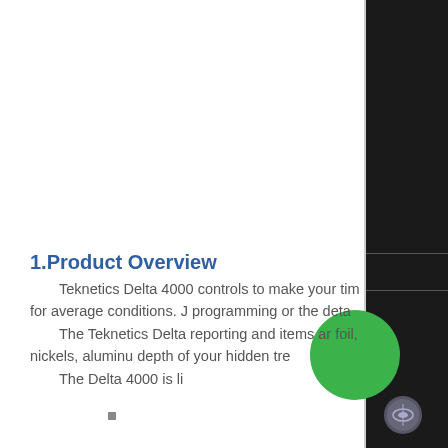1.Product Overview
Teknetics Delta 4000 controls to make your tim for average conditions. J programming or the deta The Teknetics Delta reporting and items ar foil, nickels, aluminu depth of your hidden tre The Delta 4000 is li